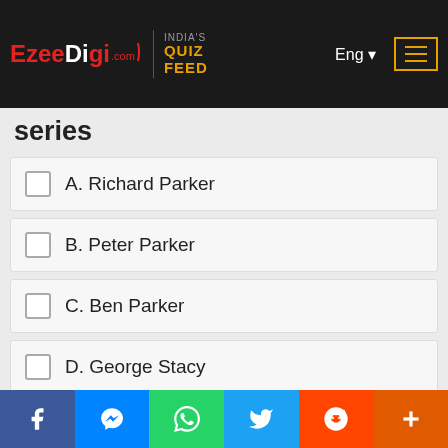EzeeDigi.com | India's Quiz Feed | Eng
series
A. Richard Parker
B. Peter Parker
C. Ben Parker
D. George Stacy
Q7: Which movie bought him the nomination for Golden Globe Award
Social share bar: Facebook, Messenger, WhatsApp, Twitter, Reddit, More